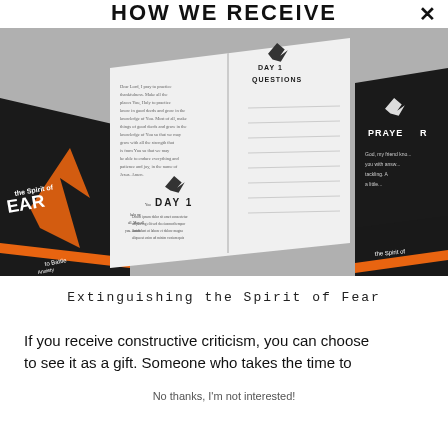HOW WE RECEIVE
[Figure (photo): Flat lay of open books showing 'Extinguishing the Spirit of Fear' daily devotional with pages showing 'DAY 1', 'DAY 1 QUESTIONS', 'PRAYER' sections, alongside black book covers with orange fire/phoenix imagery and text 'to Battle Anxiety']
Extinguishing the Spirit of Fear
If you receive constructive criticism, you can choose to see it as a gift. Someone who takes the time to
No thanks, I'm not interested!